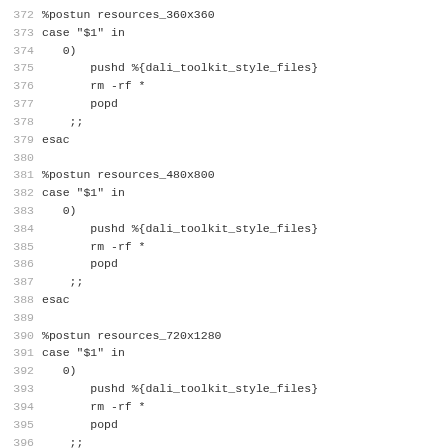372 %postun resources_360x360
373 case "$1" in
374    0)
375        pushd %{dali_toolkit_style_files}
376        rm -rf *
377        popd
378     ;;
379 esac
380
381 %postun resources_480x800
382 case "$1" in
383    0)
384        pushd %{dali_toolkit_style_files}
385        rm -rf *
386        popd
387     ;;
388 esac
389
390 %postun resources_720x1280
391 case "$1" in
392    0)
393        pushd %{dali_toolkit_style_files}
394        rm -rf *
395        popd
396     ;;
397 esac
398
399 %postun resources_1920x1080
400 case "$1" in
401    0)
402        pushd %{dali_toolkit_style_files}
403        rm -rf *